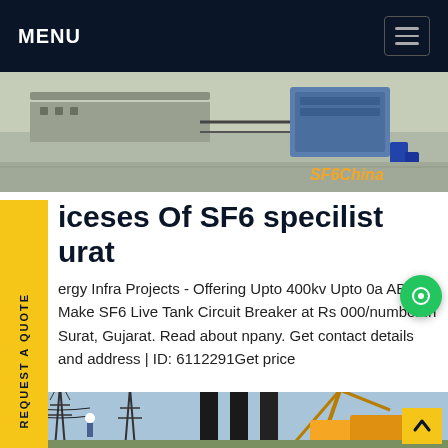MENU
[Figure (photo): Industrial electrical equipment / SF6 circuit breaker setup photo with SF6China watermark]
iceses Of SF6 specilist urat
ergy Infra Projects - Offering Upto 400kv Upto 0a ABB Make SF6 Live Tank Circuit Breaker at Rs 000/number in Surat, Gujarat. Read about npany. Get contact details and address | ID: 6112291Get price
[Figure (photo): Electrical substation with transmission towers and crane, outdoor construction site]